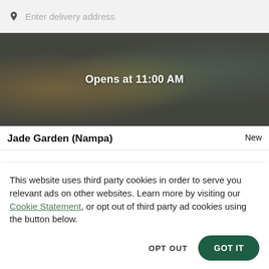Enter delivery address
[Figure (photo): Food delivery app screenshot showing a restaurant banner image with Chinese food dishes, overlaid with text 'Opens at 11:00 AM']
Jade Garden (Nampa)
New
This website uses third party cookies in order to serve you relevant ads on other websites. Learn more by visiting our Cookie Statement, or opt out of third party ad cookies using the button below.
OPT OUT
GOT IT